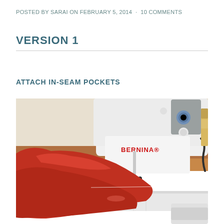POSTED BY SARAI ON FEBRUARY 5, 2014 · 10 COMMENTS
VERSION 1
ATTACH IN-SEAM POCKETS
[Figure (photo): Close-up photo of a white Bernina sewing machine with red fabric being sewn. The machine needle and presser foot are visible with the red fabric draped under and around them. The word BERNINA is printed in red on the machine body.]